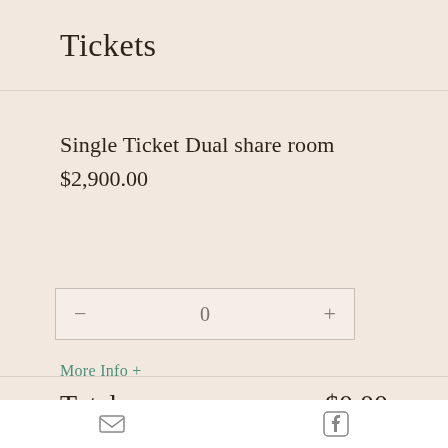Tickets
Single Ticket Dual share room
$2,900.00
0
More Info +
Total   $0.00